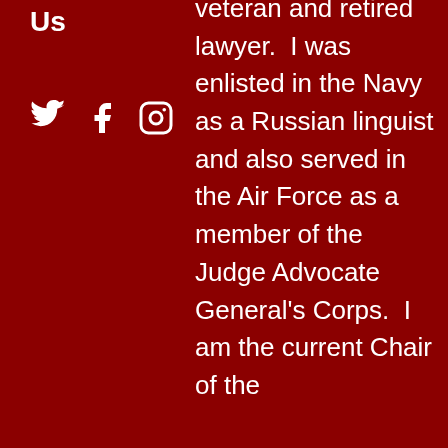Us
[Figure (illustration): Social media icons: Twitter bird, Facebook f, Instagram camera]
veteran and retired lawyer. I was enlisted in the Navy as a Russian linguist and also served in the Air Force as a member of the Judge Advocate General's Corps. I am the current Chair of the